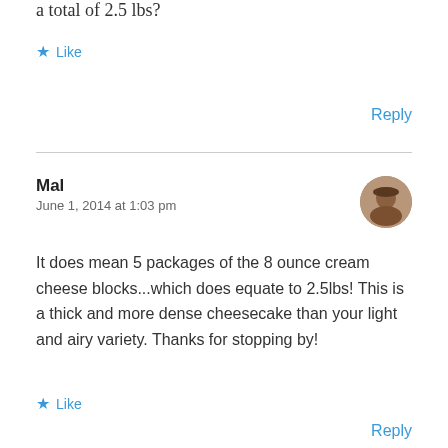a total of 2.5 lbs?
★ Like
Reply
Mal
June 1, 2014 at 1:03 pm
It does mean 5 packages of the 8 ounce cream cheese blocks...which does equate to 2.5lbs! This is a thick and more dense cheesecake than your light and airy variety. Thanks for stopping by!
★ Like
Reply